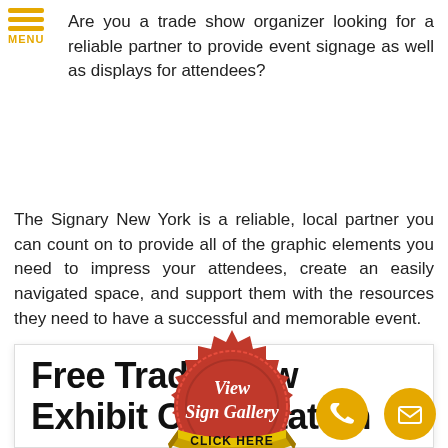MENU
Are you a trade show organizer looking for a reliable partner to provide event signage as well as displays for attendees?
The Signary New York is a reliable, local partner you can count on to provide all of the graphic elements you need to impress your attendees, create an easily navigated space, and support them with the resources they need to have a successful and memorable event.
[Figure (illustration): Red wax seal badge with gold banner reading CLICK HERE, text View Sign Gallery in white script, decorative serrated edge]
Free Tradeshow Exhibit Consultation
[Figure (illustration): Gold circle phone icon]
[Figure (illustration): Gold circle mail/envelope icon]